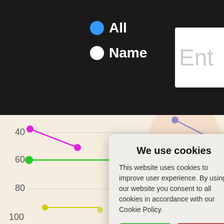[Figure (screenshot): Website interface showing a legend with 'All' (blue dot) and 'Name' (white dot) labels against a dark background, with an 'Ent' search input partially visible on the right]
[Figure (line-chart): Partial line chart visible behind a cookie consent modal. Y-axis shows values 40, 60, 80 (and partially 100). Multiple colored lines visible: magenta/pink line descending, green line, blue line, yellow line, and gray circles scatter.]
We use cookies
This website uses cookies to improve user experience. By using our website you consent to all cookies in accordance with our Cookie Policy.
Yes I agree
I disagree
Read more
Free cookie consent by cookie-script.com